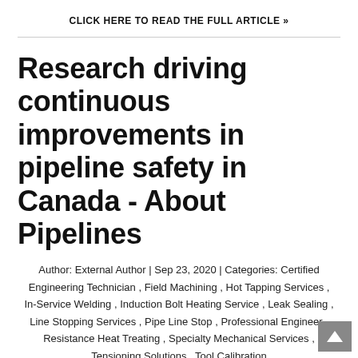CLICK HERE TO READ THE FULL ARTICLE »
Research driving continuous improvements in pipeline safety in Canada - About Pipelines
Author: External Author | Sep 23, 2020 | Categories: Certified Engineering Technician , Field Machining , Hot Tapping Services , In-Service Welding , Induction Bolt Heating Service , Leak Sealing , Line Stopping Services , Pipe Line Stop , Professional Engineer , Resistance Heat Treating , Specialty Mechanical Services , Tensioning Solutions , Tool Calibration